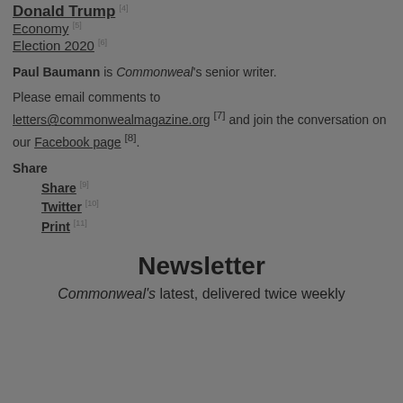Donald Trump [4]
Economy [5]
Election 2020 [6]
Paul Baumann is Commonweal's senior writer.
Please email comments to letters@commonwealmagazine.org [7] and join the conversation on our Facebook page [8].
Share
Share [9]
Twitter [10]
Print [11]
Newsletter
Commonweal's latest, delivered twice weekly